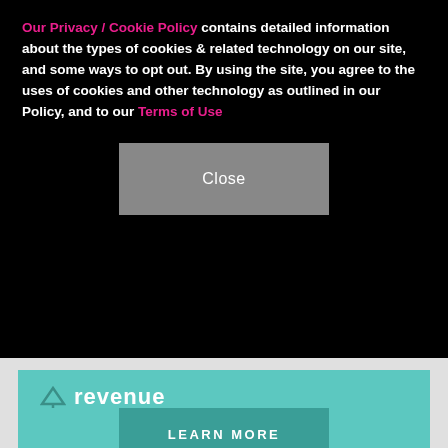Our Privacy / Cookie Policy contains detailed information about the types of cookies & related technology on our site, and some ways to opt out. By using the site, you agree to the uses of cookies and other technology as outlined in our Policy, and to our Terms of Use
Close
[Figure (screenshot): Teal/turquoise advertisement block showing a downward arrow icon followed by the word 'revenue' in white bold text, with a teal 'LEARN MORE' button below on a light gray background]
[Figure (photo): Bottom portion of page with a person's head visible against a dark gray background, and a SHE Partner Network advertisement banner at the bottom with bullet points 'Earning site & social revenue' and 'Traffic growth', SHE logo, and a 'LEARN MORE' button. An X close button appears on the right.]